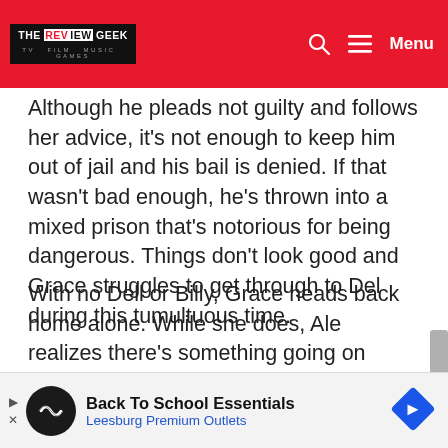THE REVIEW GEEK — TV FILM MUSIC GAMES | Menu
Although he pleads not guilty and follows her advice, it's not enough to keep him out of jail and his bail is denied. If that wasn't bad enough, he's thrown into a mixed prison that's notorious for being dangerous. Things don't look good and Grace struggles to get through to Del during this tumultuous time.
With no Dell or Billy, Grace heads back home alone. While she does, Ale realizes there's something going on between Lee and Billy, eventually driving away. Lee does her best to stop him but it's no good. Defeated, she heads back inside the house where she sits with Henry and watches home videos.
[Figure (other): Advertisement banner for Back To School Essentials at Leesburg Premium Outlets with circular logo and blue diamond arrow icon]